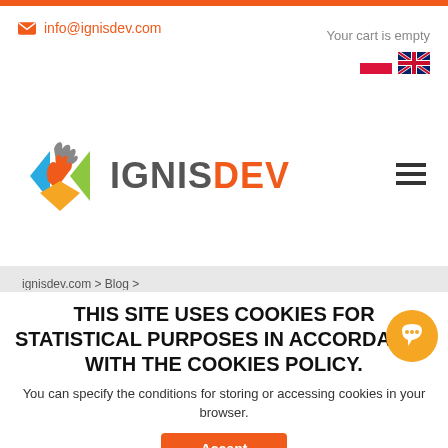info@ignisdev.com
Your cart is empty
[Figure (logo): IgnisDev logo with colorful diamond/flame icon and text IGNISDEV where DEV is in orange]
ignisdev.com > Blog >
THIS SITE USES COOKIES FOR STATISTICAL PURPOSES IN ACCORDANCE WITH THE COOKIES POLICY.
You can specify the conditions for storing or accessing cookies in your browser.
Accept